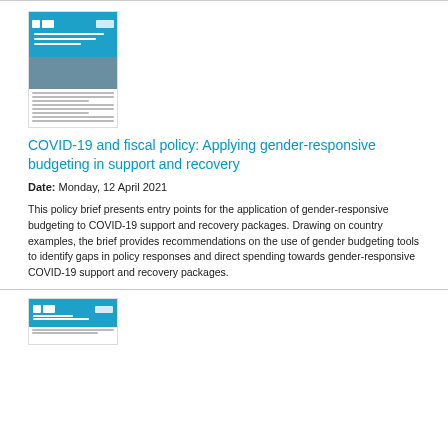[Figure (illustration): Thumbnail of policy brief document cover showing a healthcare worker wearing a mask, with blue header and text lines below]
COVID-19 and fiscal policy: Applying gender-responsive budgeting in support and recovery
Date: Monday, 12 April 2021
This policy brief presents entry points for the application of gender-responsive budgeting to COVID-19 support and recovery packages. Drawing on country examples, the brief provides recommendations on the use of gender budgeting tools to identify gaps in policy responses and direct spending towards gender-responsive COVID-19 support and recovery packages.
[Figure (illustration): Thumbnail of a second policy brief document with blue header labeled Policy Tool]